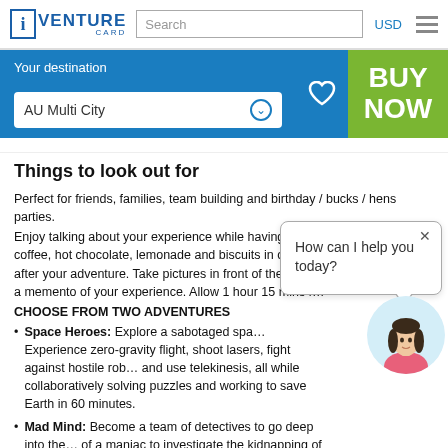[Figure (logo): iVenture Card logo with blue i in box and VENTURE CARD text]
Things to look out for
Perfect for friends, families, team building and birthday / bucks / hens parties.
Enjoy talking about your experience while having complimentary tea, coffee, hot chocolate, lemonade and biscuits in our comfortable reception after your adventure. Take pictures in front of the interactive photo walls as a memento of your experience. Allow 1 hour 15 mins f…
CHOOSE FROM TWO ADVENTURES
Space Heroes: Explore a sabotaged spa… Experience zero-gravity flight, shoot lasers, fight against hostile rob… and use telekinesis, all while collaboratively solving puzzles and working to save Earth in 60 minutes.
Mad Mind: Become a team of detectives to go deep into the… of a maniac to investigate the kidnapping of a child. Work toge… diabolical and dangerous puzzles and uncover the secrets held… of a madman in 60 minutes.
[Figure (screenshot): Chat popup saying 'How can I help you today?' with a female avatar illustration below]